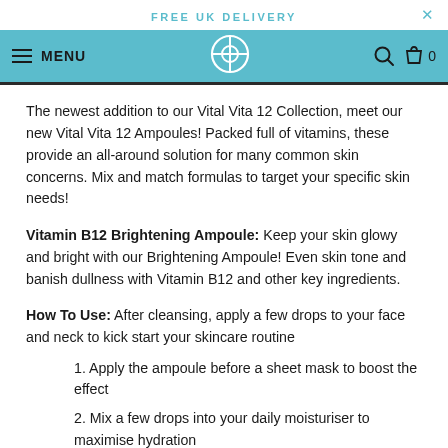FREE UK DELIVERY
[Figure (screenshot): Navigation bar with hamburger menu, MENU text, circular logo icon, search icon, and shopping bag with 0 count on teal background]
The newest addition to our Vital Vita 12 Collection, meet our new Vital Vita 12 Ampoules! Packed full of vitamins, these provide an all-around solution for many common skin concerns. Mix and match formulas to target your specific skin needs!
Vitamin B12 Brightening Ampoule: Keep your skin glowy and bright with our Brightening Ampoule! Even skin tone and banish dullness with Vitamin B12 and other key ingredients.
How To Use: After cleansing, apply a few drops to your face and neck to kick start your skincare routine
1. Apply the ampoule before a sheet mask to boost the effect
2. Mix a few drops into your daily moisturiser to maximise hydration